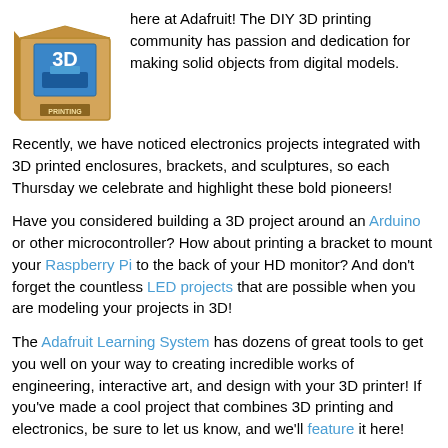[Figure (illustration): Cartoon illustration of a cardboard box with a 3D printer icon on the front showing '3D PRINTING' text label]
here at Adafruit! The DIY 3D printing community has passion and dedication for making solid objects from digital models.
Recently, we have noticed electronics projects integrated with 3D printed enclosures, brackets, and sculptures, so each Thursday we celebrate and highlight these bold pioneers!
Have you considered building a 3D project around an Arduino or other microcontroller? How about printing a bracket to mount your Raspberry Pi to the back of your HD monitor? And don't forget the countless LED projects that are possible when you are modeling your projects in 3D!
The Adafruit Learning System has dozens of great tools to get you well on your way to creating incredible works of engineering, interactive art, and design with your 3D printer! If you've made a cool project that combines 3D printing and electronics, be sure to let us know, and we'll feature it here!